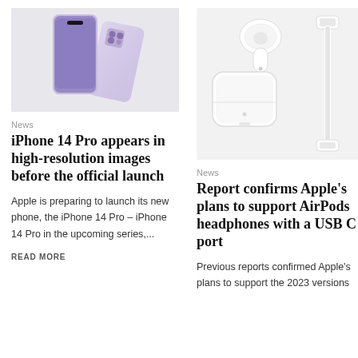[Figure (photo): Two purple/lavender iPhone 14 Pro smartphones on a light gray background]
News
iPhone 14 Pro appears in high-resolution images before the official launch
Apple is preparing to launch its new phone, the iPhone 14 Pro – iPhone 14 Pro in the upcoming series,...
READ MORE
[Figure (photo): AirPods Pro in charging case with USB-C cable on white background]
News
Report confirms Apple's plans to support AirPods headphones with a USB C port
Previous reports confirmed Apple's plans to support the 2023 versions